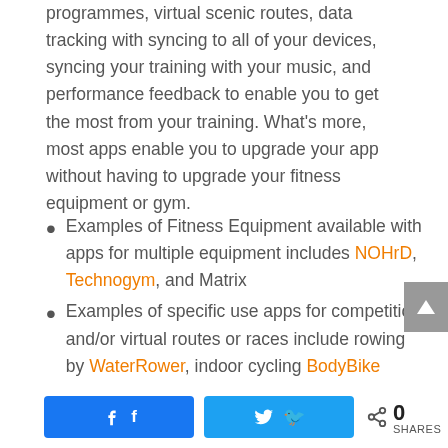programmes, virtual scenic routes, data tracking with syncing to all of your devices, syncing your training with your music, and performance feedback to enable you to get the most from your training. What's more, most apps enable you to upgrade your app without having to upgrade your fitness equipment or gym.
Examples of Fitness Equipment available with apps for multiple equipment includes NOHrD, Technogym, and Matrix
Examples of specific use apps for competition and/or virtual routes or races include rowing by WaterRower, indoor cycling BodyBike